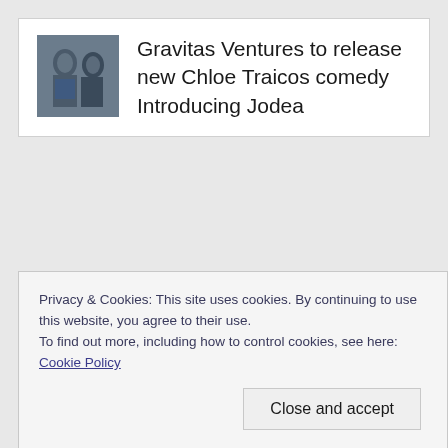[Figure (photo): Thumbnail image of two people, one appears to be in a blue top, in a scene from the comedy film Introducing Jodea]
Gravitas Ventures to release new Chloe Traicos comedy Introducing Jodea
Privacy & Cookies: This site uses cookies. By continuing to use this website, you agree to their use.
To find out more, including how to control cookies, see here: Cookie Policy
Close and accept